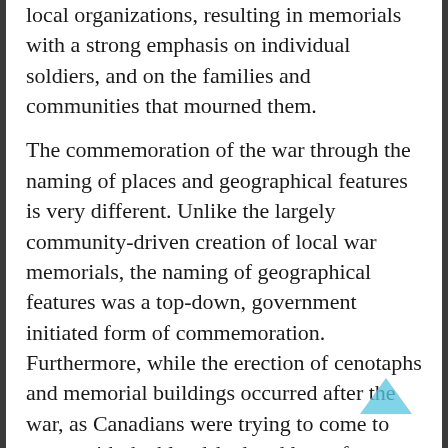local organizations, resulting in memorials with a strong emphasis on individual soldiers, and on the families and communities that mourned them.
The commemoration of the war through the naming of places and geographical features is very different. Unlike the largely community-driven creation of local war memorials, the naming of geographical features was a top-down, government initiated form of commemoration. Furthermore, while the erection of cenotaphs and memorial buildings occurred after the war, as Canadians were trying to come to terms with the bloodshed and loss of so many, war-related place names were adopted while the war was still ongoing. Parks Canada historian Meg Stanley, who has done significant research on the place names